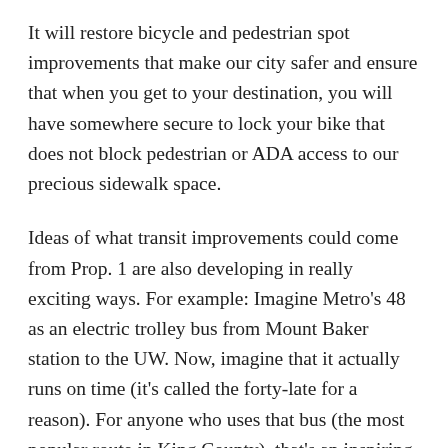It will restore bicycle and pedestrian spot improvements that make our city safer and ensure that when you get to your destination, you will have somewhere secure to lock your bike that does not block pedestrian or ADA access to our precious sidewalk space.
Ideas of what transit improvements could come from Prop. 1 are also developing in really exciting ways. For example: Imagine Metro's 48 as an electric trolley bus from Mount Baker station to the UW. Now, imagine that it actually runs on time (it's called the forty-late for a reason). For anyone who uses that bus (the most popular route in King County), that's an inspiring vision (see more on that idea from Bruce Nourish at Seattle Transit Blog).
The investments in transit efficiency are permanent. You speed up a route once using infrastructure, and you save that time and those operating hours forever.